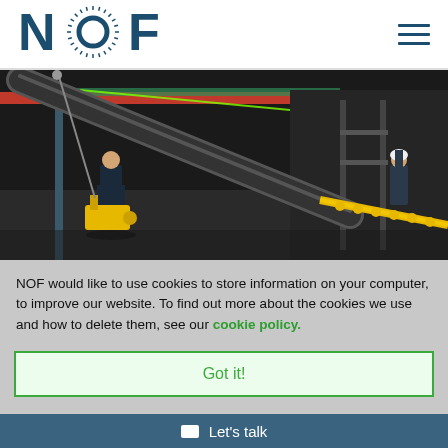[Figure (logo): NOF logo with stylized sunburst O letter in dark teal/blue color]
[Figure (photo): Industrial warehouse scene with workers handling large black tubular/pipe equipment. A worker in foreground operates yellow lifting equipment on a large black tube/pipe structure angled diagonally. Red and blue steel beams visible overhead. Second worker in hard hat visible in background right. Yellow safety barriers on floor.]
NOF would like to use cookies to store information on your computer, to improve our website. To find out more about the cookies we use and how to delete them, see our cookie policy.
Got it!
Let's talk